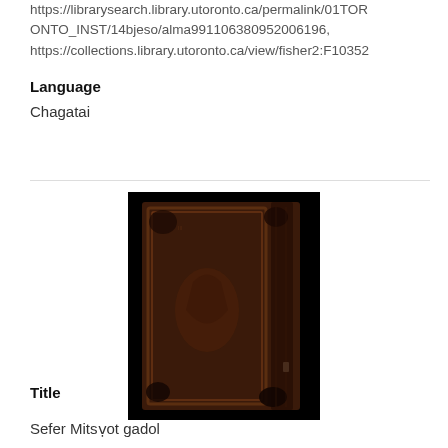https://librarysearch.library.utoronto.ca/permalink/01TORONTO_INST/14bjeso/alma991106380952006196, https://collections.library.utoronto.ca/view/fisher2:F10352
Language
Chagatai
[Figure (photo): Photograph of an old worn leather-bound book cover, dark brown with embossed decorative elements, on a black background.]
Title
Sefer Mitsṿot gadol